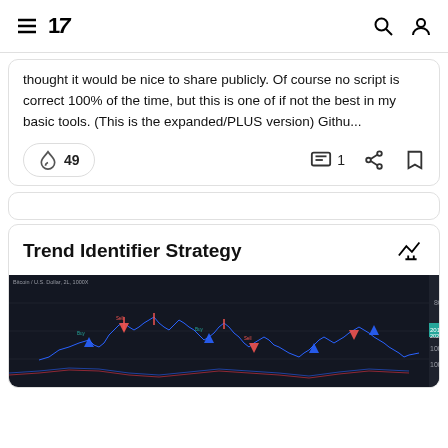TradingView header with hamburger menu, logo (TV), search icon, and user icon
thought it would be nice to share publicly. Of course no script is correct 100% of the time, but this is one of if not the best in my basic tools. (This is the expanded/PLUS version) Githu...
49
1
Trend Identifier Strategy
[Figure (screenshot): Dark-themed TradingView chart showing Bitcoin/USD price action with multiple buy/sell signals marked as arrows, multiple indicator overlays, and price levels on the right axis around 1000.00]